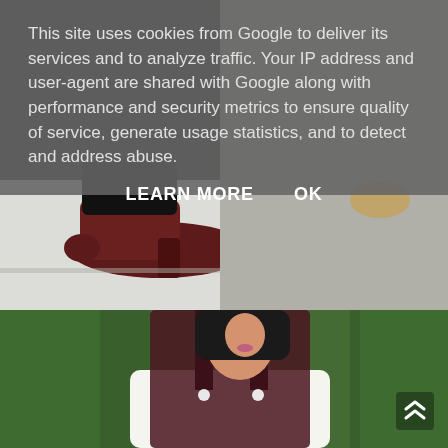[Figure (photo): Close-up of a person's feet wearing dark maroon/burgundy heeled shoes, white socks, standing near a weathered white surface with a leaf visible]
[Figure (photo): Young woman with short black hair, wearing a white off-shoulder lace top and dark maroon/burgundy corduroy overalls, standing in front of green foliage]
This site uses cookies from Google to deliver its services and to analyze traffic. Your IP address and user-agent are shared with Google along with performance and security metrics to ensure quality of service, generate usage statistics, and to detect and address abuse.
LEARN MORE    OK